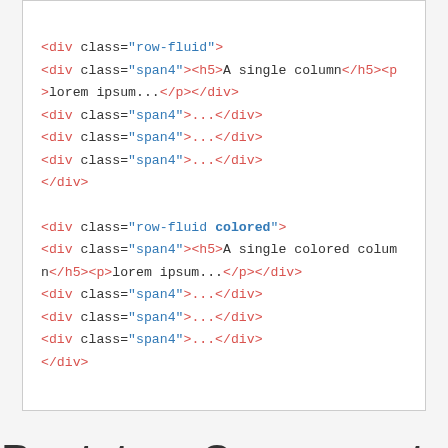<div class="row-fluid">
<div class="span4"><h5>A single column</h5><p
>lorem ipsum...</p></div>
<div class="span4">...</div>
<div class="span4">...</div>
<div class="span4">...</div>
</div>

<div class="row-fluid colored">
<div class="span4"><h5>A single colored column</h5><p>lorem ipsum...</p></div>
<div class="span4">...</div>
<div class="span4">...</div>
<div class="span4">...</div>
</div>
Bootstrap Components
Full of features, easy to include